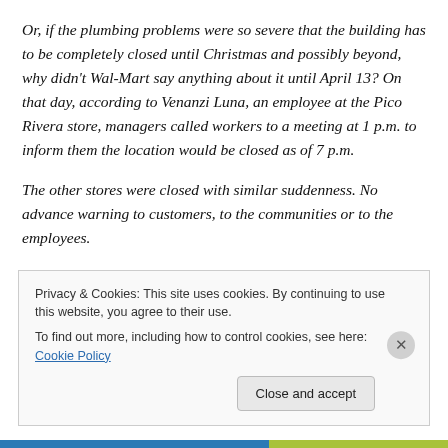Or, if the plumbing problems were so severe that the building has to be completely closed until Christmas and possibly beyond, why didn't Wal-Mart say anything about it until April 13? On that day, according to Venanzi Luna, an employee at the Pico Rivera store, managers called workers to a meeting at 1 p.m. to inform them the location would be closed as of 7 p.m.

The other stores were closed with similar suddenness. No advance warning to customers, to the communities or to the employees.
Privacy & Cookies: This site uses cookies. By continuing to use this website, you agree to their use.
To find out more, including how to control cookies, see here: Cookie Policy
Close and accept